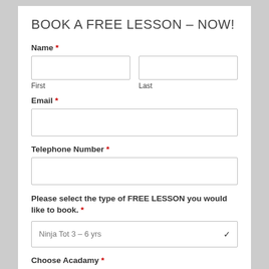BOOK A FREE LESSON – NOW!
Name *
First
Last
Email *
Telephone Number *
Please select the type of FREE LESSON you would like to book. *
Ninja Tot 3 – 6 yrs
Choose Acadamy *